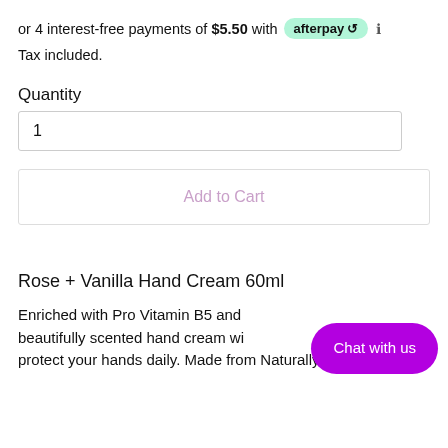or 4 interest-free payments of $5.50 with afterpay ℹ
Tax included.
Quantity
1
Add to Cart
Rose + Vanilla Hand Cream 60ml
Enriched with Pro Vitamin B5 and beautifully scented hand cream wi protect your hands daily. Made from Naturally
Chat with us